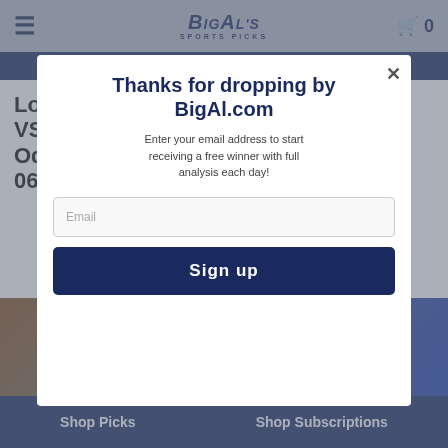BigAl's Sports Picks
Follow us @bigal.com
Los Angeles Dodgers VS Cincinnati Reds Odds Preview Picks – 06/23/2022
[Figure (screenshot): Modal popup overlay on BigAl.com sports picks website. Modal shows headline 'Thanks for dropping by BigAl.com', body text 'Enter your email address to start receiving a free winner with full analysis each day!', an email input field, and a Sign Up button. Background shows the article title and a photo of a baseball player.]
Shop Picks   Shop Subscriptions